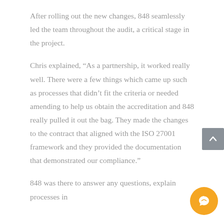After rolling out the new changes, 848 seamlessly led the team throughout the audit, a critical stage in the project.
Chris explained, “As a partnership, it worked really well. There were a few things which came up such as processes that didn’t fit the criteria or needed amending to help us obtain the accreditation and 848 really pulled it out the bag. They made the changes to the contract that aligned with the ISO 27001 framework and they provided the documentation that demonstrated our compliance.”
848 was there to answer any questions, explain processes in